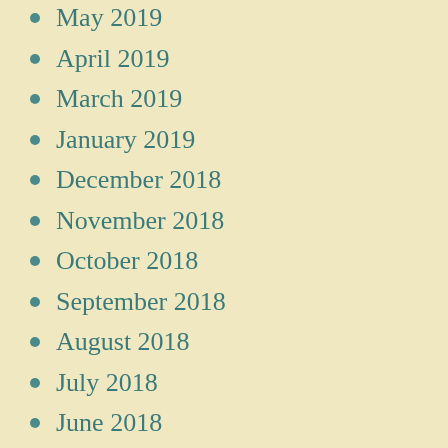May 2019
April 2019
March 2019
January 2019
December 2018
November 2018
October 2018
September 2018
August 2018
July 2018
June 2018
May 2018
April 2018
March 2018
February 2018
January 2018
December 2017